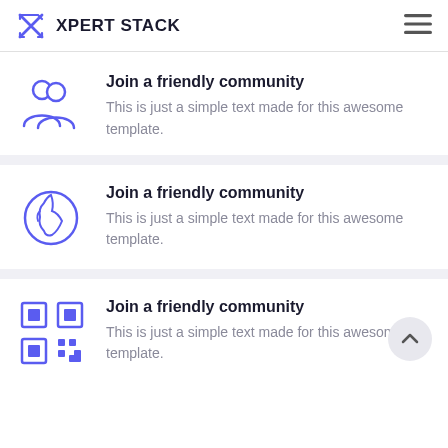XPERT STACK
Join a friendly community
This is just a simple text made for this awesome template.
Join a friendly community
This is just a simple text made for this awesome template.
Join a friendly community
This is just a simple text made for this awesome template.